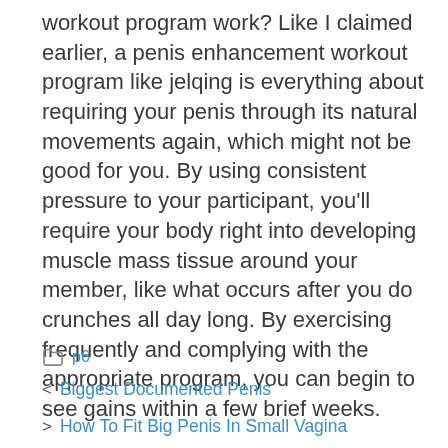workout program work? Like I claimed earlier, a penis enhancement workout program like jelqing is everything about requiring your penis through its natural movements again, which might not be good for you. By using consistent pressure to your participant, you'll require your body right into developing muscle mass tissue around your member, like what occurs after you do crunches all day long. By exercising frequently and complying with the appropriate program, you can begin to see gains within a few brief weeks.
p6
< Biggest Documented Penis
> How To Fit Big Penis In Small Vagina